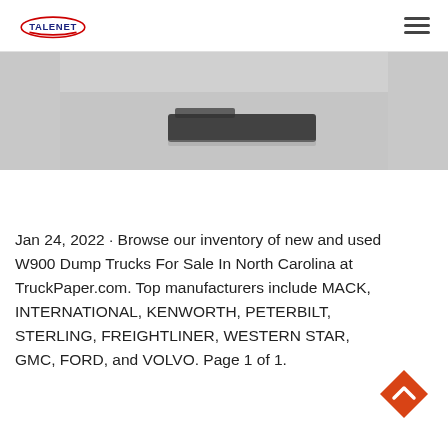TALENET [logo] [hamburger menu]
[Figure (photo): Partial view of a truck or vehicle component on a concrete surface, cropped at top]
Jan 24, 2022 · Browse our inventory of new and used W900 Dump Trucks For Sale In North Carolina at TruckPaper.com. Top manufacturers include MACK, INTERNATIONAL, KENWORTH, PETERBILT, STERLING, FREIGHTLINER, WESTERN STAR, GMC, FORD, and VOLVO. Page 1 of 1.